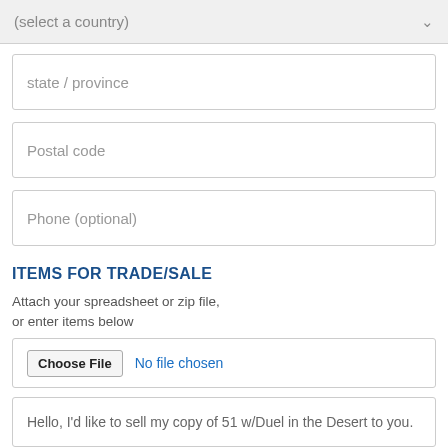(select a country)
state / province
Postal code
Phone (optional)
ITEMS FOR TRADE/SALE
Attach your spreadsheet or zip file, or enter items below
Choose File  No file chosen
Hello, I'd like to sell my copy of 51 w/Duel in the Desert to you.